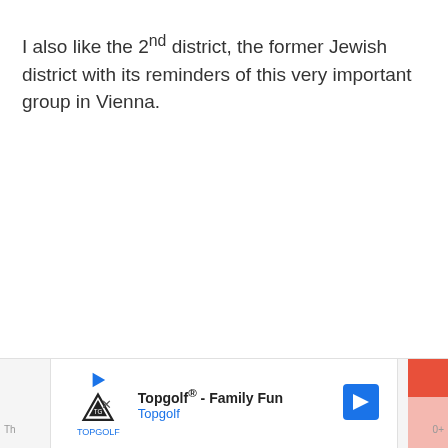I also like the 2nd district, the former Jewish district with its reminders of this very important group in Vienna.
[Figure (other): Advertisement banner for Topgolf - Family Fun, showing Topgolf logo, play button, navigation arrow icon, and partial text at bottom edges.]